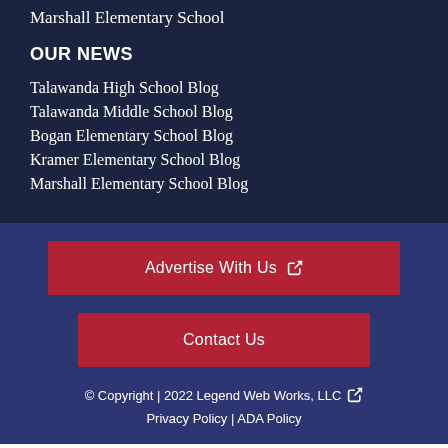Marshall Elementary School
OUR NEWS
Talawanda High School Blog
Talawanda Middle School Blog
Bogan Elementary School Blog
Kramer Elementary School Blog
Marshall Elementary School Blog
Advertise With Us
Contact Us
© Copyright | 2022 Legend Web Works, LLC
Privacy Policy | ADA Policy